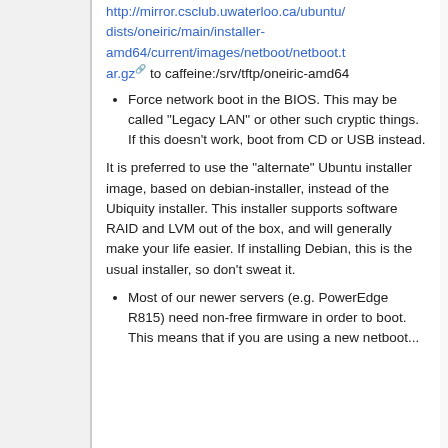http://mirror.csclub.uwaterloo.ca/ubuntu/dists/oneiric/main/installer-amd64/current/images/netboot/netboot.tar.gz to caffeine:/srv/tftp/oneiric-amd64
Force network boot in the BIOS. This may be called "Legacy LAN" or other such cryptic things. If this doesn't work, boot from CD or USB instead.
It is preferred to use the "alternate" Ubuntu installer image, based on debian-installer, instead of the Ubiquity installer. This installer supports software RAID and LVM out of the box, and will generally make your life easier. If installing Debian, this is the usual installer, so don't sweat it.
Most of our newer servers (e.g. PowerEdge R815) need non-free firmware in order to boot. This means that if you are using a new netboot...